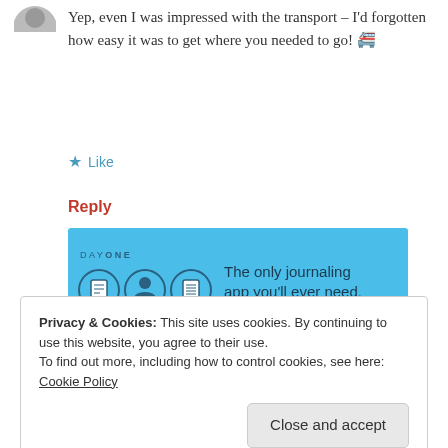[Figure (illustration): Partial avatar/profile picture at top left, partially cropped]
Yep, even I was impressed with the transport – I'd forgotten how easy it was to get where you needed to go! 🚝
★ Like
Reply
[Figure (screenshot): Day One app advertisement banner on blue background with icons and text: 'The only journaling app you'll ever need.']
REPORT THIS AD
Privacy & Cookies: This site uses cookies. By continuing to use this website, you agree to their use.
To find out more, including how to control cookies, see here:
Cookie Policy
Close and accept